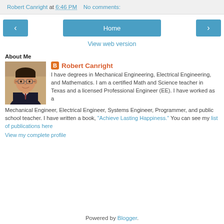Robert Canright at 6:46 PM   No comments:
[Figure (screenshot): Navigation buttons: left arrow, Home, right arrow]
View web version
About Me
[Figure (photo): Profile photo of Robert Canright, a middle-aged man wearing glasses and a suit]
Robert Canright
I have degrees in Mechanical Engineering, Electrical Engineering, and Mathematics. I am a certified Math and Science teacher in Texas and a licensed Professional Engineer (EE). I have worked as a Mechanical Engineer, Electrical Engineer, Systems Engineer, Programmer, and public school teacher. I have written a book, "Achieve Lasting Happiness." You can see my list of publications here
View my complete profile
Powered by Blogger.